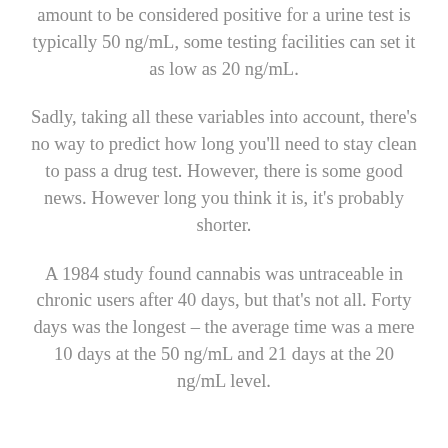amount to be considered positive for a urine test is typically 50 ng/mL, some testing facilities can set it as low as 20 ng/mL.
Sadly, taking all these variables into account, there's no way to predict how long you'll need to stay clean to pass a drug test. However, there is some good news. However long you think it is, it's probably shorter.
A 1984 study found cannabis was untraceable in chronic users after 40 days, but that's not all. Forty days was the longest – the average time was a mere 10 days at the 50 ng/mL and 21 days at the 20 ng/mL level.